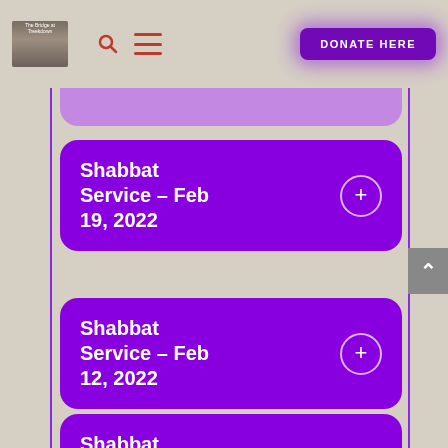DONATE HERE
Shabbat Service – Feb 19, 2022
Shabbat Service – Feb 12, 2022
Shabbat Service – Feb 5, 2022